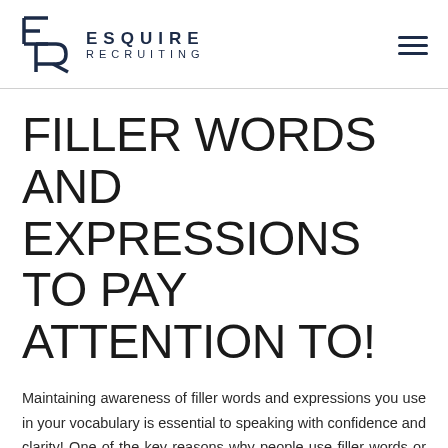ESQUIRE RECRUITING
FILLER WORDS AND EXPRESSIONS TO PAY ATTENTION TO!
Maintaining awareness of filler words and expressions you use in your vocabulary is essential to speaking with confidence and clarity! One of the key reasons why people use filler words or phrases is